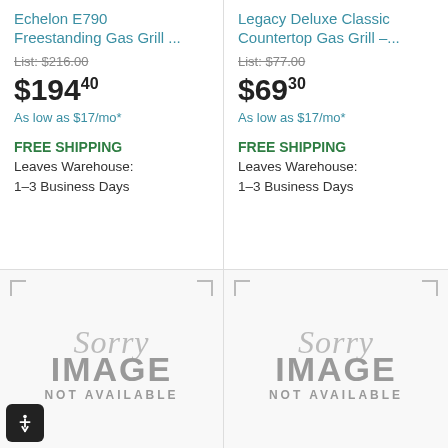Echelon E790 Freestanding Gas Grill ...
List: $216.00
$194.40
As low as $17/mo*
FREE SHIPPING
Leaves Warehouse: 1–3 Business Days
Legacy Deluxe Classic Countertop Gas Grill –...
List: $77.00
$69.30
As low as $17/mo*
FREE SHIPPING
Leaves Warehouse: 1–3 Business Days
[Figure (illustration): Sorry Image Not Available placeholder — left column]
[Figure (illustration): Sorry Image Not Available placeholder — right column]